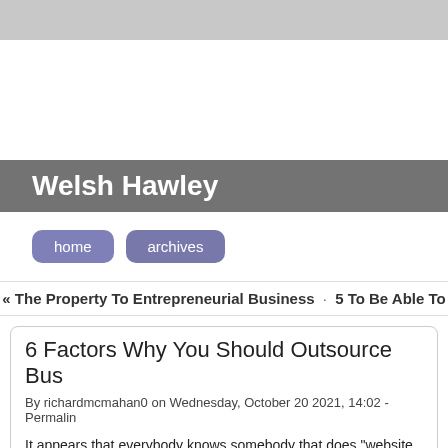Welsh Hawley
home   archives
« The Property To Entrepreneurial Business · 5 To Be Able To
6 Factors Why You Should Outsource Bus
By richardmcmahan0 on Wednesday, October 20 2021, 14:02 - Permalin
It appears that everybody knows somebody that does "website design". notch school student working on the weekends between book reports a designer. The this, you need to be careful when choosing a website